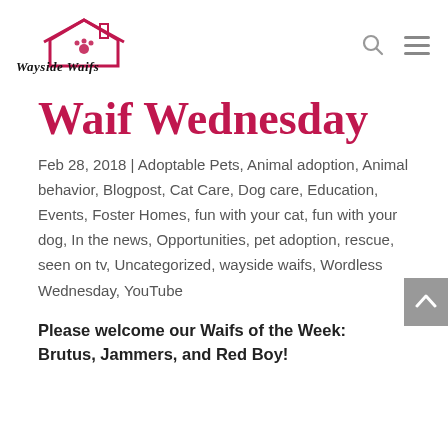[Figure (logo): Wayside Waifs no-kill shelter logo with house, paw print, and stylized text]
Waif Wednesday
Feb 28, 2018 | Adoptable Pets, Animal adoption, Animal behavior, Blogpost, Cat Care, Dog care, Education, Events, Foster Homes, fun with your cat, fun with your dog, In the news, Opportunities, pet adoption, rescue, seen on tv, Uncategorized, wayside waifs, Wordless Wednesday, YouTube
Please welcome our Waifs of the Week: Brutus, Jammers, and Red Boy!